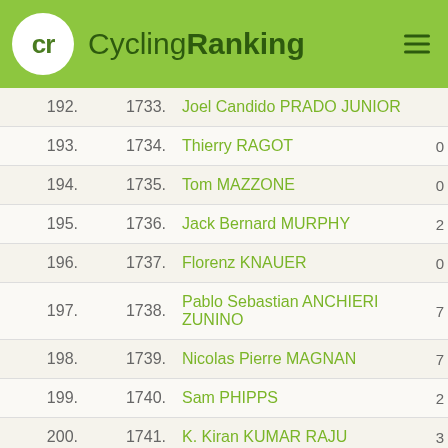CyclingRanking
| Rank | Overall | Name | Pts |
| --- | --- | --- | --- |
| 192. | 1733. | Joel Candido PRADO JUNIOR |  |
| 193. | 1734. | Thierry RAGOT | 0 |
| 194. | 1735. | Tom MAZZONE | 0 |
| 195. | 1736. | Jack Bernard MURPHY | 2 |
| 196. | 1737. | Florenz KNAUER | 0 |
| 197. | 1738. | Pablo Sebastian ANCHIERI ZUNINO | 7 |
| 198. | 1739. | Nicolas Pierre MAGNAN | 7 |
| 199. | 1740. | Sam PHIPPS | 2 |
| 200. | 1741. | K. Kiran KUMAR RAJU | 3 |
| 201. | 1742. | David GONZÁLEZ LÓPEZ | 2 |
| 202. | 1743. | Brendan COLE | 2 |